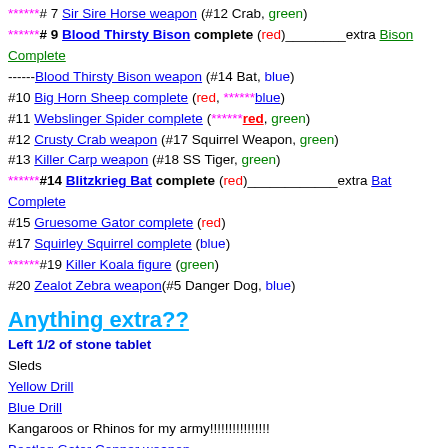# 7 Sir Sire Horse weapon (#12 Crab, green)
******* # 9 Blood Thirsty Bison complete (red)________extra Bison Complete
------Blood Thirsty Bison weapon (#14 Bat, blue)
#10 Big Horn Sheep complete (red, *******blue)
#11 Webslinger Spider complete (*******red, green)
#12 Crusty Crab weapon (#17 Squirrel Weapon, green)
#13 Killer Carp weapon (#18 SS Tiger, green)
******* #14 Blitzkrieg Bat complete (red)____________extra Bat Complete
#15 Gruesome Gator complete (red)
#17 Squirley Squirrel complete (blue)
******* #19 Killer Koala figure (green)
#20 Zealot Zebra weapon(#5 Danger Dog, blue)
Anything extra??
Left 1/2 of stone tablet
Sleds
Yellow Drill
Blue Drill
Kangaroos or Rhinos for my army!!!!!!!!!!!!!!!!
Bootleg Gator Copper weapon
Bootleg Gator Silver weapon